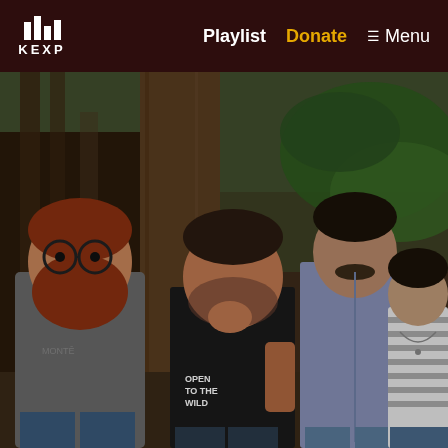KEXP — Playlist | Donate | Menu
[Figure (photo): Four members of a band standing outdoors in front of trees and tropical foliage. Left to right: a man with red beard and glasses wearing a grey t-shirt, a heavier man in a black 'Open to the Wild' t-shirt with hand near mouth, a tall thin man in a lavender button-up shirt, and a woman with dark hair in a striped shirt with a necklace.]